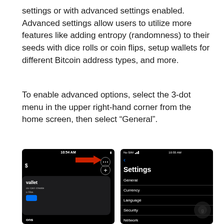settings or with advanced settings enabled. Advanced settings allow users to utilize more features like adding entropy (randomness) to their seeds with dice rolls or coin flips, setup wallets for different Bitcoin address types, and more.
To enable advanced options, select the 3-dot menu in the upper right-hand corner from the home screen, then select “General”.
[Figure (screenshot): Left: A mobile app home screen (dark theme) with 10:54 AM status bar, a red arrow pointing to a 3-dot menu icon in the upper right, a '+' circle button, a wallet card with text 'wallet', 'you can create', 'u like.', a blue button, and 'ons' label at the bottom. Right: A dark-themed mobile settings screen showing 10:55 AM, 'No SIM' indicator, back arrow, bold 'Settings' title, and menu items: General, Currency, Language, Security, Network.]